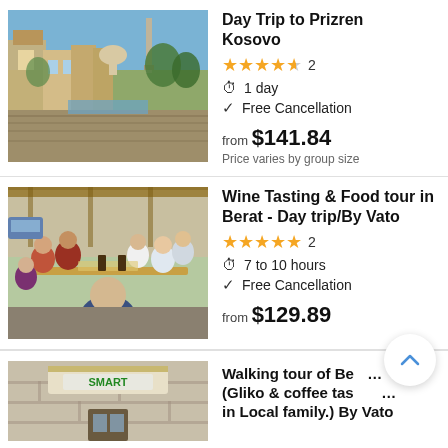[Figure (photo): Photo of Prizren Kosovo cityscape with old buildings, a mosque minaret, and stone walkway along a river]
Day Trip to Prizren Kosovo
★★★★½  2
⏱ 1 day
✓ Free Cancellation
from $141.84
Price varies by group size
[Figure (photo): Photo of a group of people sitting around a wooden outdoor table eating and drinking wine under a pergola]
Wine Tasting & Food tour in Berat - Day trip/By Vato
★★★★★  2
⏱ 7 to 10 hours
✓ Free Cancellation
from $129.89
[Figure (photo): Photo of a stone building with an umbrella/awning sign reading SMART]
Walking tour of Berat (Gliko & coffee tasting in Local family.) By Vato